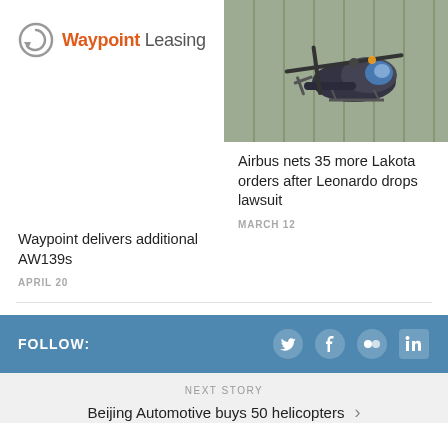[Figure (logo): Waypoint Leasing logo with circular arrow icon]
[Figure (photo): Helicopter (military/utility) flying near a hangar building]
Waypoint delivers additional AW139s
APRIL 20
Airbus nets 35 more Lakota orders after Leonardo drops lawsuit
MARCH 12
FOLLOW:
[Figure (infographic): Social media icons: Twitter, Facebook, Flickr, LinkedIn]
NEXT STORY
Beijing Automotive buys 50 helicopters